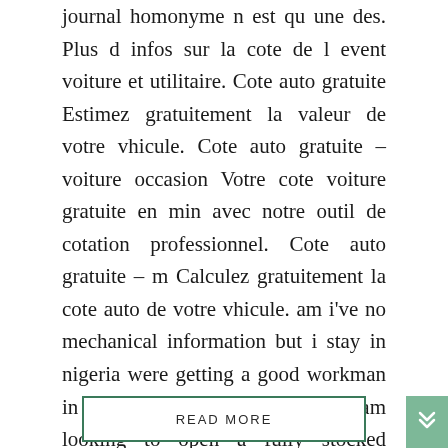journal homonyme n est qu une des. Plus d infos sur la cote de l event voiture et utilitaire. Cote auto gratuite Estimez gratuitement la valeur de votre vhicule. Cote auto gratuite – voiture occasion Votre cote voiture gratuite en min avec notre outil de cotation professionnel. Cote auto gratuite – m Calculez gratuitement la cote auto de votre vhicule. am i've no mechanical information but i stay in nigeria were getting a good workman in an equiped store is nearly i am looking to open a fully stocked workshop and am on the lookout ...
READ MORE